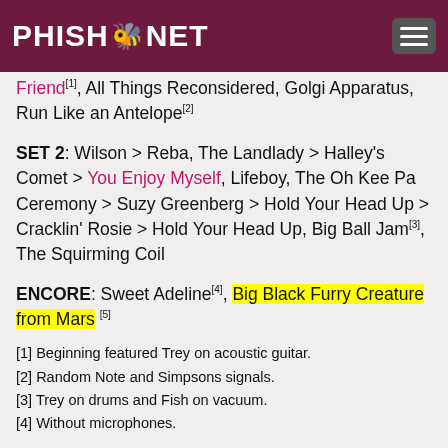PHISH.NET
Friend[1], All Things Reconsidered, Golgi Apparatus, Run Like an Antelope[2]
SET 2: Wilson > Reba, The Landlady > Halley's Comet > You Enjoy Myself, Lifeboy, The Oh Kee Pa Ceremony > Suzy Greenberg > Hold Your Head Up > Cracklin' Rosie > Hold Your Head Up, Big Ball Jam[3], The Squirming Coil
ENCORE: Sweet Adeline[4], Big Black Furry Creature from Mars[5]
[1] Beginning featured Trey on acoustic guitar.
[2] Random Note and Simpsons signals.
[3] Trey on drums and Fish on vacuum.
[4] Without microphones.